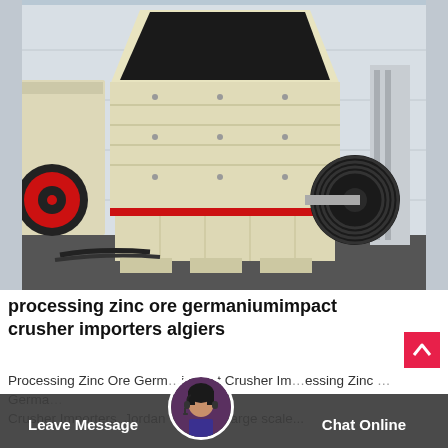[Figure (photo): Industrial impact crusher machine in cream/beige color with black opening at top, red accent stripe near base, large black rubber pulley wheel on right side, red pulley wheel on left, photographed outdoors against grey building wall.]
processing zinc ore germaniumimpact crusher importers algiers
Processing Zinc Ore Germanium Impact Crusher Importers. Processing Zinc Ore Germa... Crusher Importers, Jordan We are a large scale...